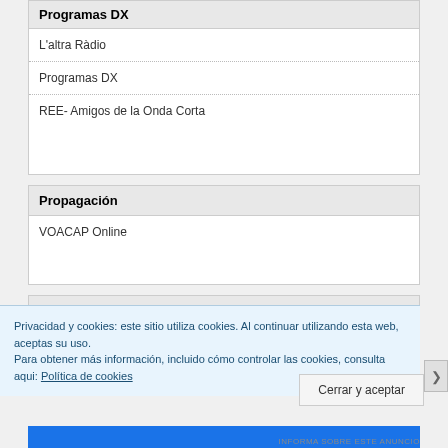Programas DX
L'altra Ràdio
Programas DX
REE- Amigos de la Onda Corta
Propagación
VOACAP Online
Publicaciones
Privacidad y cookies: este sitio utiliza cookies. Al continuar utilizando esta web, aceptas su uso.
Para obtener más información, incluido cómo controlar las cookies, consulta aqui: Política de cookies
Cerrar y aceptar